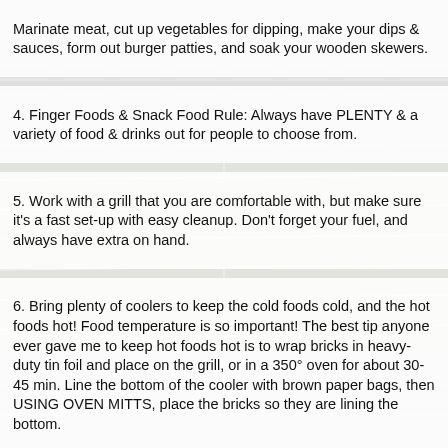Marinate meat, cut up vegetables for dipping, make your dips & sauces, form out burger patties, and soak your wooden skewers.
4. Finger Foods & Snack Food Rule: Always have PLENTY & a variety of food & drinks out for people to choose from.
5. Work with a grill that you are comfortable with, but make sure it's a fast set-up with easy cleanup. Don't forget your fuel, and always have extra on hand.
6. Bring plenty of coolers to keep the cold foods cold, and the hot foods hot! Food temperature is so important! The best tip anyone ever gave me to keep hot foods hot is to wrap bricks in heavy-duty tin foil and place on the grill, or in a 350° oven for about 30-45 min. Line the bottom of the cooler with brown paper bags, then USING OVEN MITTS, place the bricks so they are lining the bottom.
7. ALWAYS bring a thermometer to monitor your food. This is very helpful to prevent lifting the lid when doing slower cooked meats such as ribs and pork shoulder.